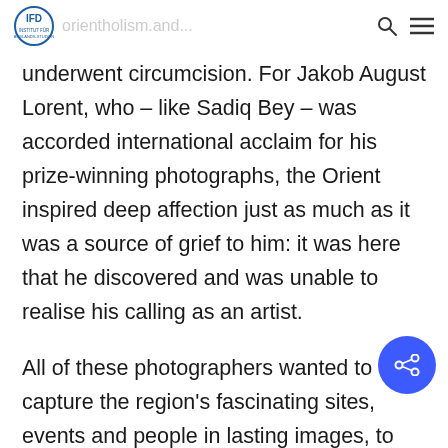IFD | Institut für Auslands- und Auslandsstudien
underwent circumcision. For Jakob August Lorent, who – like Sadiq Bey – was accorded international acclaim for his prize-winning photographs, the Orient inspired deep affection just as much as it was a source of grief to him: it was here that he discovered and was unable to realise his calling as an artist.

All of these photographers wanted to capture the region's fascinating sites, events and people in lasting images, to present such things as they really were.